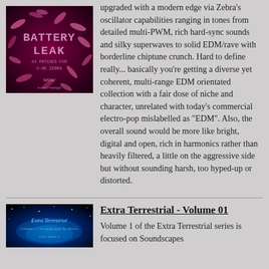[Figure (illustration): Battery Leak album art cover — dark pink/magenta background with pill/capsule shapes scattered, bold pixelated text 'BATTERY LEAK', subtitle text, and a stylized logo at bottom]
upgraded with a modern edge via Zebra's oscillator capabilities ranging in tones from detailed multi-PWM, rich hard-sync sounds and silky superwaves to solid EDM/rave with borderline chiptune crunch. Hard to define really... basically you're getting a diverse yet coherent, multi-range EDM orientated collection with a fair dose of niche and character, unrelated with today's commercial electro-pop mislabelled as "EDM". Also, the overall sound would be more like bright, digital and open, rich in harmonics rather than heavily filtered, a little on the aggressive side but without sounding harsh, too hyped-up or distorted.
Extra Terrestrial - Volume 01
[Figure (illustration): Extra Terrestrial volume 1 album art cover — dark space/cosmic background with blue nebula and text 'Extra Terrestrial volume 1 • Soundscapes & effects u-he zebra 2']
Volume 1 of the Extra Terrestrial series is focused on Soundscapes